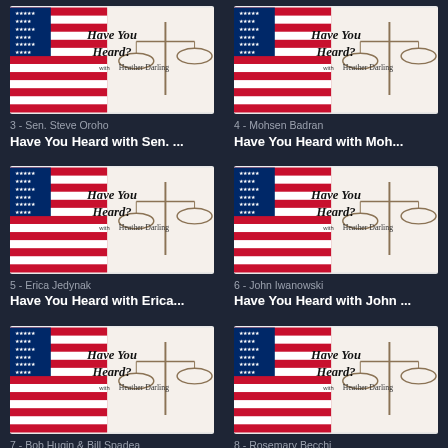[Figure (illustration): Have You Heard? with Heather Darling podcast cover - American flag with scales of justice, episode 3 with Sen. Steve Oroho]
3 - Sen. Steve Oroho
Have You Heard with Sen. ...
[Figure (illustration): Have You Heard? with Heather Darling podcast cover - American flag with scales of justice, episode 4 with Mohsen Badran]
4 - Mohsen Badran
Have You Heard with Moh...
[Figure (illustration): Have You Heard? with Heather Darling podcast cover - American flag with scales of justice, episode 5 with Erica Jedynak]
5 - Erica Jedynak
Have You Heard with Erica...
[Figure (illustration): Have You Heard? with Heather Darling podcast cover - American flag with scales of justice, episode 6 with John Iwanowski]
6 - John Iwanowski
Have You Heard with John ...
[Figure (illustration): Have You Heard? with Heather Darling podcast cover - American flag with scales of justice, episode 7 with Bob Hugin & Bill Spadea]
7 - Bob Hugin & Bill Spadea
Have You Heard with Bob ...
[Figure (illustration): Have You Heard? with Heather Darling podcast cover - American flag with scales of justice, episode 8 with Rosemary Becchi]
8 - Rosemary Becchi
Have You Heard with Rose...